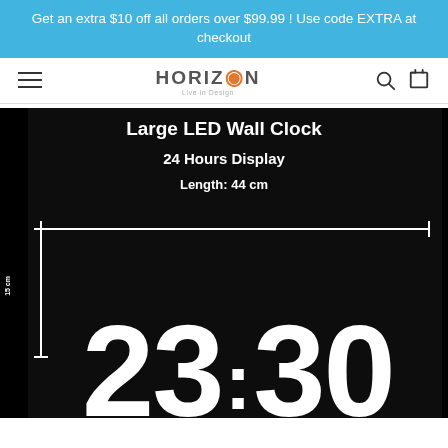Get an extra $10 off all orders over $99.99 ! Use code EXTRA at checkout
[Figure (logo): Horizzon brand logo with hamburger menu icon on left and search/cart icons on right]
[Figure (photo): Large LED Wall Clock product image on black background showing text: Large LED Wall Clock, 24 Hours Display, Length: 44 cm, with dimension arrows showing 44 cm width and 15 cm height, and large digital clock digits 23:30 visible at bottom]